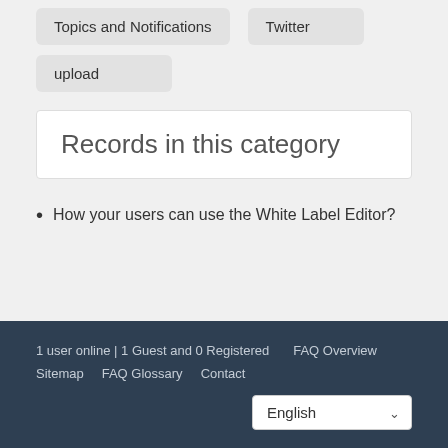Topics and Notifications
Twitter
upload
Records in this category
How your users can use the White Label Editor?
1 user online | 1 Guest and 0 Registered   FAQ Overview   Sitemap   FAQ Glossary   Contact   English